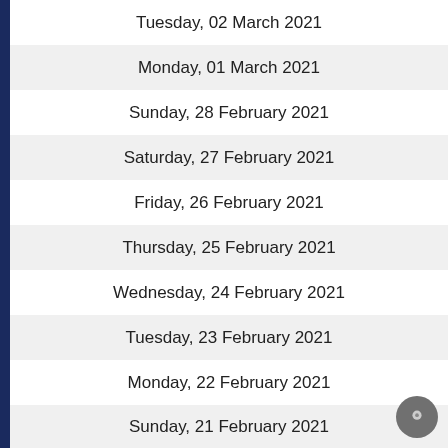Tuesday, 02 March 2021
Monday, 01 March 2021
Sunday, 28 February 2021
Saturday, 27 February 2021
Friday, 26 February 2021
Thursday, 25 February 2021
Wednesday, 24 February 2021
Tuesday, 23 February 2021
Monday, 22 February 2021
Sunday, 21 February 2021